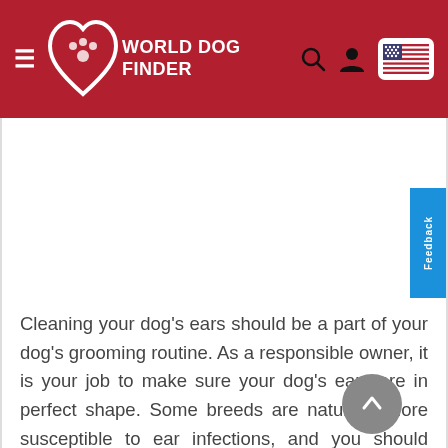World Dog Finder
[Figure (other): Advertisement or blank content area below the navigation header]
Cleaning your dog's ears should be a part of your dog's grooming routine. As a responsible owner, it is your job to make sure your dog's ears are in perfect shape. Some breeds are naturally more susceptible to ear infections, and you should keep a watchful eye on their ear